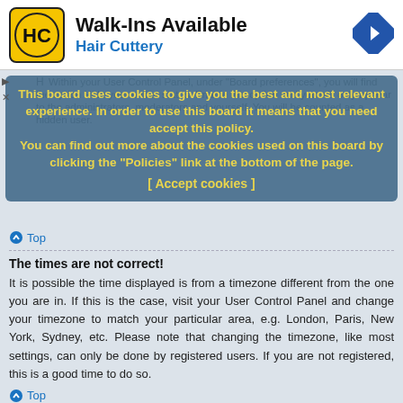[Figure (screenshot): Hair Cuttery advertisement banner with logo, 'Walk-Ins Available' title, and navigation arrow icon]
[Figure (screenshot): Cookie consent overlay notification in blue/teal background with yellow bold text]
This board uses cookies to give you the best and most relevant experience. In order to use this board it means that you need accept this policy. You can find out more about the cookies used on this board by clicking the "Policies" link at the bottom of the page.
[ Accept cookies ]
Top
The times are not correct!
It is possible the time displayed is from a timezone different from the one you are in. If this is the case, visit your User Control Panel and change your timezone to match your particular area, e.g. London, Paris, New York, Sydney, etc. Please note that changing the timezone, like most settings, can only be done by registered users. If you are not registered, this is a good time to do so.
Top
I changed the timezone and the time is still wrong!
If you are sure you have set the timezone correctly and the time is still incorrect, then the time stored on the server clock is incorrect. Please notify an